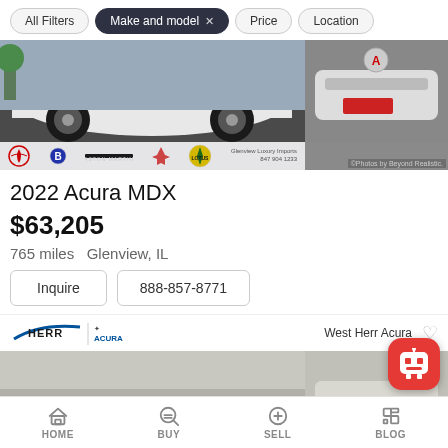All Filters | Make and model × | Price | Location
[Figure (photo): Front/underside view of white 2022 Acura MDX with dealer logo bar showing Alfa Romeo, Bentley, Aston Martin, Maserati, Lotus logos and Glenview Luxury Imports contact. Side image shows front grille of same car. Photos by Beyond Realistic.]
2022 Acura MDX
$63,205
765 miles  Glenview, IL
Inquire   888-857-8771
[Figure (photo): West Herr Acura dealership logo bar and partial front view of dark-colored Acura vehicle in showroom setting.]
HOME  BUY  SELL  BLOG